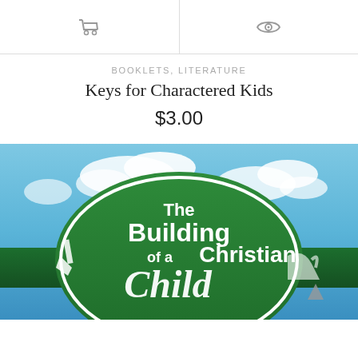[Figure (screenshot): Top navigation bar with shopping cart icon on left and eye/preview icon on right, separated by a vertical divider line]
BOOKLETS, LITERATURE
Keys for Charactered Kids
$3.00
[Figure (photo): Book cover image showing 'The Building of a Christian Child' with a green oval logo on a blue sky background with clouds]